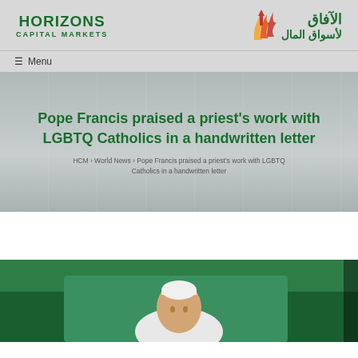[Figure (logo): Horizons Capital Markets logo with Arabic text (Al-Afaq Li-Aswaaq Al-Maal) and arrow graphic]
☰ Menu
Pope Francis praised a priest's work with LGBTQ Catholics in a handwritten letter
HCM › World News › Pope Francis praised a priest's work with LGBTQ Catholics in a handwritten letter
[Figure (photo): Photo of Pope Francis wearing white vestments and white zucchetto, photographed outdoors with green fabric visible in background]